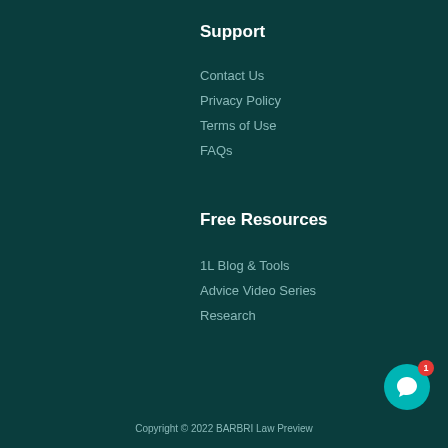Support
Contact Us
Privacy Policy
Terms of Use
FAQs
Free Resources
1L Blog & Tools
Advice Video Series
Research
Copyright © 2022 BARBRI Law Preview